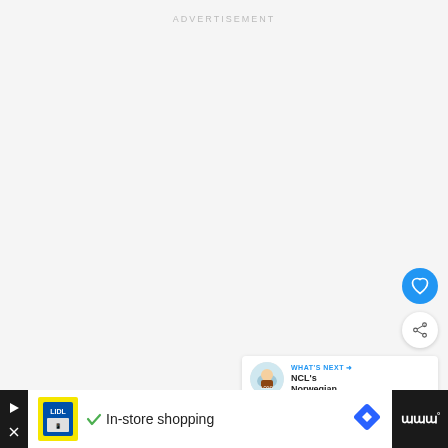ADVERTISEMENT
[Figure (other): Large empty advertisement placeholder area with light grey background]
[Figure (other): Blue circular favorite/heart button]
[Figure (other): White circular share button with share icon]
[Figure (other): What's Next card showing NCL's Norwegian... with logo thumbnail]
[Figure (other): Bottom advertisement banner showing Lidl store ad with In-store shopping text, navigation icon, and app icon on dark background]